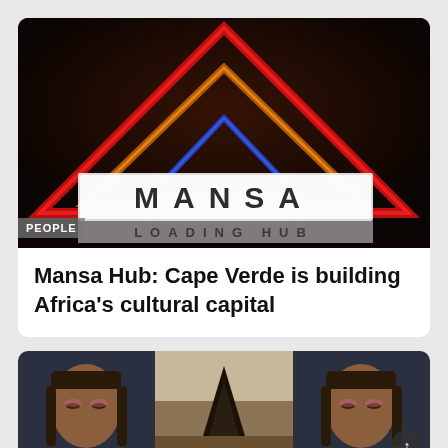[Figure (photo): Neon glowing triangles in red, orange, and blue colors on a dark stone background spelling 'MANSA LOADING HUB']
PEOPLE
Mansa Hub: Cape Verde is building Africa’s cultural capital
[Figure (photo): Three-panel strip of photos: woman with braids looking down (left), dark sculpture outdoors (middle), woman with braids looking down (right)]